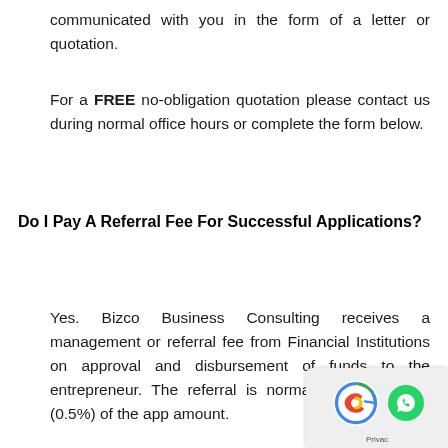communicated with you in the form of a letter or quotation.
For a FREE no-obligation quotation please contact us during normal office hours or complete the form below.
Do I Pay A Referral Fee For Successful Applications?
Yes. Bizco Business Consulting receives a management or referral fee from Financial Institutions on approval and disbursement of funds to the entrepreneur. The referral is normally a percentage (0.5%) of the app amount.